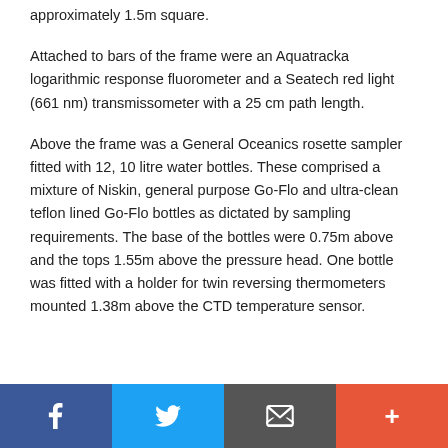approximately 1.5m square.
Attached to bars of the frame were an Aquatracka logarithmic response fluorometer and a Seatech red light (661 nm) transmissometer with a 25 cm path length.
Above the frame was a General Oceanics rosette sampler fitted with 12, 10 litre water bottles. These comprised a mixture of Niskin, general purpose Go-Flo and ultra-clean teflon lined Go-Flo bottles as dictated by sampling requirements. The base of the bottles were 0.75m above and the tops 1.55m above the pressure head. One bottle was fitted with a holder for twin reversing thermometers mounted 1.38m above the CTD temperature sensor.
[Figure (other): Social sharing footer bar with Facebook, Twitter, email/message, and plus/more buttons]